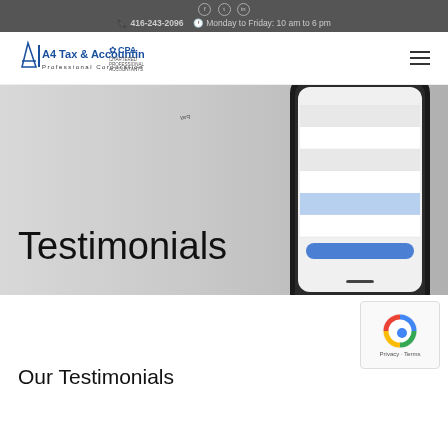416-243-2096  Monday to Friday: 10 am to 6 pm
[Figure (logo): A4 Tax & Accounting Professional Corporation logo with CPA badge]
[Figure (photo): Smartphone showing a mobile app interface, placed on a light surface, slightly tilted]
Testimonials
[Figure (other): reCAPTCHA badge with Privacy and Terms links]
Our Testimonials